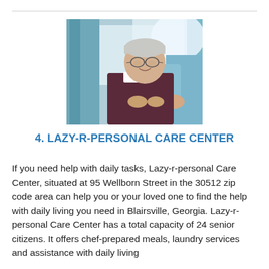[Figure (photo): Elderly man with glasses smiling and looking upward while a caregiver in blue holds his hands; background shows curtains and window light.]
4. LAZY-R-PERSONAL CARE CENTER
If you need help with daily tasks, Lazy-r-personal Care Center, situated at 95 Wellborn Street in the 30512 zip code area can help you or your loved one to find the help with daily living you need in Blairsville, Georgia. Lazy-r-personal Care Center has a total capacity of 24 senior citizens. It offers chef-prepared meals, laundry services and assistance with daily living